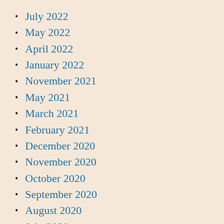July 2022
May 2022
April 2022
January 2022
November 2021
May 2021
March 2021
February 2021
December 2020
November 2020
October 2020
September 2020
August 2020
July 2020
June 2020